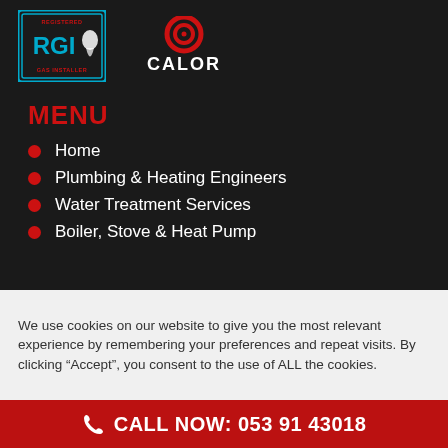[Figure (logo): RGI Registered Gas Installer logo — blue bordered box with RGI text and gas flame figure]
[Figure (logo): Calor gas logo — red concentric circle target icon above white CALOR text]
MENU
Home
Plumbing & Heating Engineers
Water Treatment Services
Boiler, Stove & Heat Pump
We use cookies on our website to give you the most relevant experience by remembering your preferences and repeat visits. By clicking “Accept”, you consent to the use of ALL the cookies.
CALL NOW: 053 91 43018